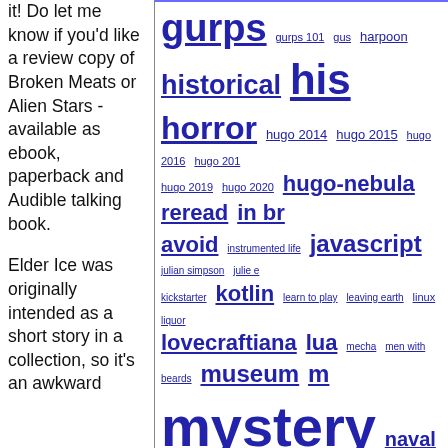it! Do let me know if you'd like a review copy of Broken Meats or Alien Stars - available as ebook, paperback and Audible talking book.
Elder Ice was originally intended as a short story in a collection, so it's an awkward length...
gurps gurps 101 gus harpoon historical his horror hugo 2014 hugo 2015 hugo 2016 hugo 2017 hugo 2019 hugo 2020 hugo-nebula reread in br avoid instrumented life javascript julian simpson julie e kickstarter kotlin learn to play leaving earth linux liquor lovecraftiana lua mecha men with beards museum m mystery naval noir non-fi one for the brow opera parody paul temple perl perl weekly challenge photography podcast politics postscript p prediction privacy project woolsack pyracantha python rail raku ranting raspberry pi reading reading boardgames